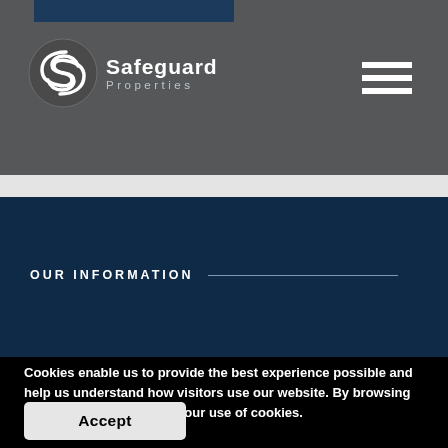[Figure (logo): Safeguard Properties logo with S icon and text 'Safeguard Properties']
OUR INFORMATION
Cookies enable us to provide the best experience possible and help us understand how visitors use our website. By browsing our website, you agree to our use of cookies.
Accept